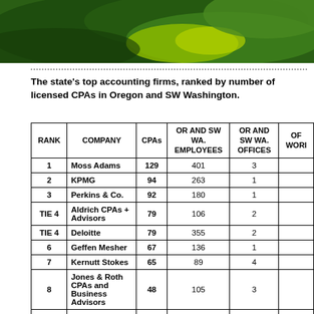[Figure (illustration): Green and yellow decorative graphic/logo at the top of the page]
The state's top accounting firms, ranked by number of licensed CPAs in Oregon and SW Washington.
| RANK | COMPANY | CPAs | OR AND SW WA. EMPLOYEES | OR AND SW WA. OFFICES | OF WORL |
| --- | --- | --- | --- | --- | --- |
| 1 | Moss Adams | 129 | 401 | 3 |  |
| 2 | KPMG | 94 | 263 | 1 |  |
| 3 | Perkins & Co. | 92 | 180 | 1 |  |
| TIE 4 | Aldrich CPAs + Advisors | 79 | 106 | 2 |  |
| TIE 4 | Deloitte | 79 | 355 | 2 |  |
| 6 | Geffen Mesher | 67 | 136 | 1 |  |
| 7 | Kernutt Stokes | 65 | 89 | 4 |  |
| 8 | Jones & Roth CPAs and Business Advisors | 48 | 105 | 3 |  |
| 9 | Hoffman, Stewart & Schmidt | 30 | 48 | 1 |  |
| 10 | Maginnis & Carey | 23 | 33 | 1 |  |
| 11 | Boldt Carlisle + | 22 | 44 | 3 |  |